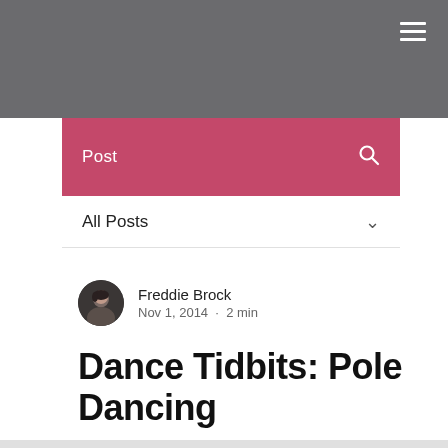Post
All Posts
Freddie Brock
Nov 1, 2014 · 2 min
Dance Tidbits: Pole Dancing